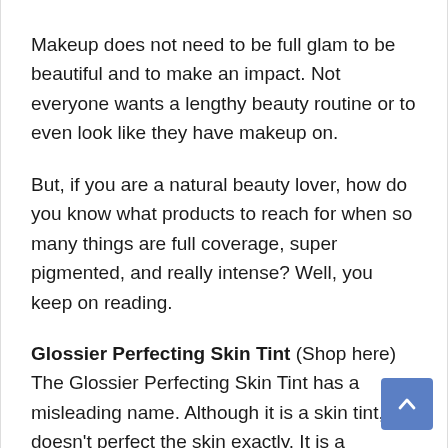Makeup does not need to be full glam to be beautiful and to make an impact. Not everyone wants a lengthy beauty routine or to even look like they have makeup on.
But, if you are a natural beauty lover, how do you know what products to reach for when so many things are full coverage, super pigmented, and really intense? Well, you keep on reading.
Glossier Perfecting Skin Tint (Shop here) The Glossier Perfecting Skin Tint has a misleading name. Although it is a skin tint, it doesn't perfect the skin exactly. It is a lightweight and hydrating coverage product that